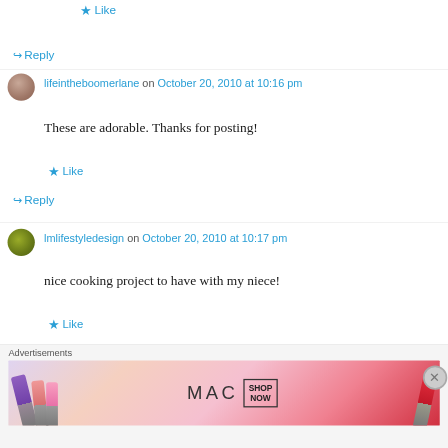Like
Reply
lifeintheboomerlane on October 20, 2010 at 10:16 pm
These are adorable. Thanks for posting!
Like
Reply
lmlifestyledesign on October 20, 2010 at 10:17 pm
nice cooking project to have with my niece!
Like
Advertisements
[Figure (illustration): MAC cosmetics advertisement showing lipsticks with SHOP NOW text]